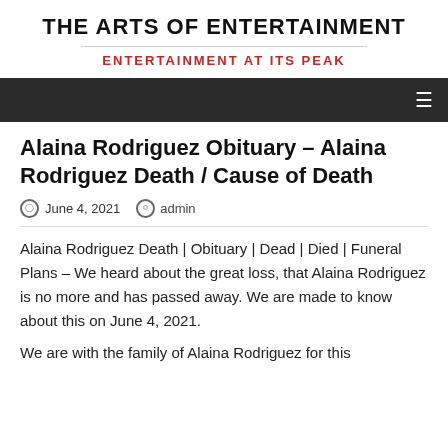THE ARTS OF ENTERTAINMENT
ENTERTAINMENT AT ITS PEAK
Alaina Rodriguez Obituary – Alaina Rodriguez Death / Cause of Death
June 4, 2021  admin
Alaina Rodriguez Death | Obituary | Dead | Died | Funeral Plans – We heard about the great loss, that Alaina Rodriguez is no more and has passed away. We are made to know about this on June 4, 2021.
We are with the family of Alaina Rodriguez for this...